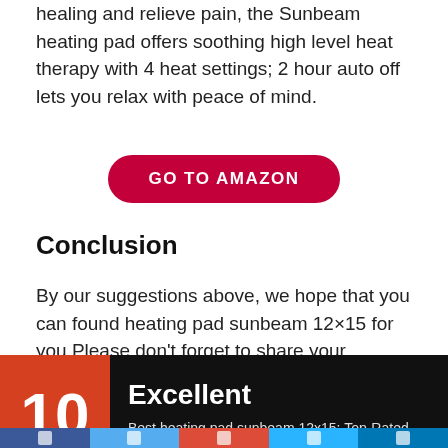healing and relieve pain, the Sunbeam heating pad offers soothing high level heat therapy with 4 heat settings; 2 hour auto off lets you relax with peace of mind.
GO TO AMAZON
Conclusion
By our suggestions above, we hope that you can found heating pad sunbeam 12×15 for you.Please don't forget to share your experience by comment in this post. Thank you!
[Figure (infographic): Rating badge showing score of 10 with label Excellent and subtitle Best heating pad sunbeam 12x15: Top-Rated Brands & What to Buy on a black background with orange score box]